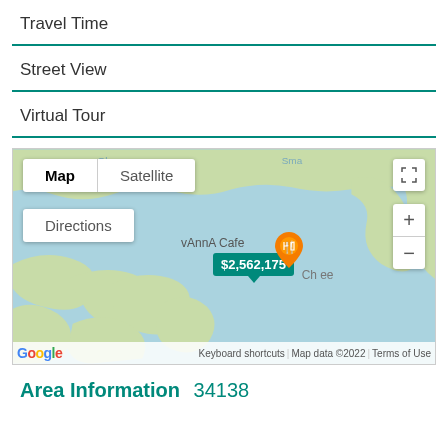Travel Time
Street View
Virtual Tour
[Figure (map): Google Map showing coastal area near Chokoloskee, Florida. Map view selected with Satellite option. Directions button visible. Price popup showing $2,562,175 with food pin labeled 'vAnnA Cafe'. Zoom controls and fullscreen button visible. Footer shows Keyboard shortcuts, Map data ©2022, Terms of Use.]
Area Information 34138